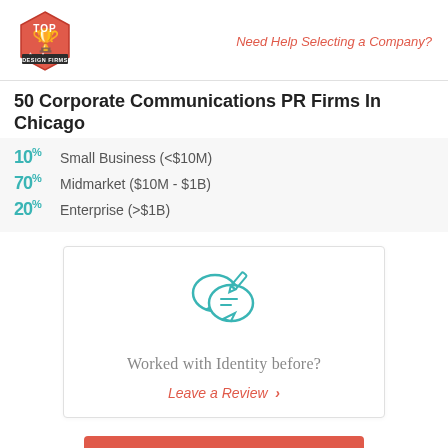Need Help Selecting a Company?
50 Corporate Communications PR Firms In Chicago
10% Small Business (<$10M)
70% Midmarket ($10M - $1B)
20% Enterprise (>$1B)
[Figure (illustration): Two speech bubble icons with a pencil/edit icon, in teal color]
Worked with Identity before?
Leave a Review >
Visit Site